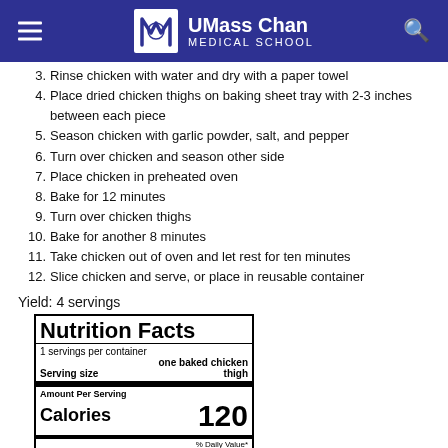UMass Chan Medical School
3. Rinse chicken with water and dry with a paper towel
4. Place dried chicken thighs on baking sheet tray with 2-3 inches between each piece
5. Season chicken with garlic powder, salt, and pepper
6. Turn over chicken and season other side
7. Place chicken in preheated oven
8. Bake for 12 minutes
9. Turn over chicken thighs
10. Bake for another 8 minutes
11. Take chicken out of oven and let rest for ten minutes
12. Slice chicken and serve, or place in reusable container
Yield: 4 servings
| Nutrition Facts |
| --- |
| 1 servings per container |
| Serving size | one baked chicken thigh |
| Amount Per Serving |
| Calories | 120 |
|  | % Daily Value* |
| Total Fat 4g | 5% |
| Saturated Fat 1.3g | 7% |
| Trans Fat 0.1g |  |
| Cholesterol 80mg | 27% |